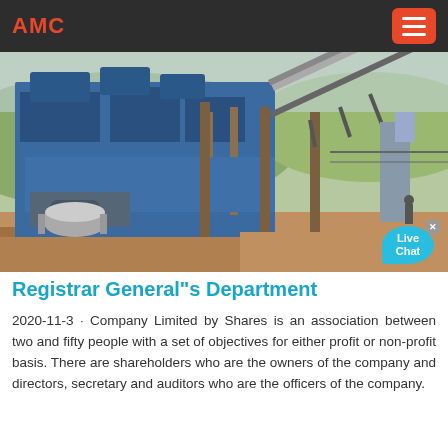AMC
[Figure (photo): Industrial machinery/crushing plant photograph showing large blue metal processing equipment with conveyor belts, support columns, and outdoor construction site setting with hills in background]
Registrar General"s Department
2020-11-3 · Company Limited by Shares is an association between two and fifty people with a set of objectives for either profit or non-profit basis. There are shareholders who are the owners of the company and directors, secretary and auditors who are the officers of the company.